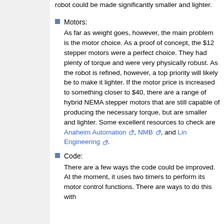robot could be made significantly smaller and lighter.
Motors: As far as weight goes, however, the main problem is the motor choice. As a proof of concept, the $12 stepper motors were a perfect choice. They had plenty of torque and were very physically robust. As the robot is refined, however, a top priority will likely be to make it lighter. If the motor price is increased to something closer to $40, there are a range of hybrid NEMA stepper motors that are still capable of producing the necessary torque, but are smaller and lighter. Some excellent resources to check are Anaheim Automation, NMB, and Lin Engineering.
Code: There are a few ways the code could be improved. At the moment, it uses two timers to perform its motor control functions. There are ways to do this with